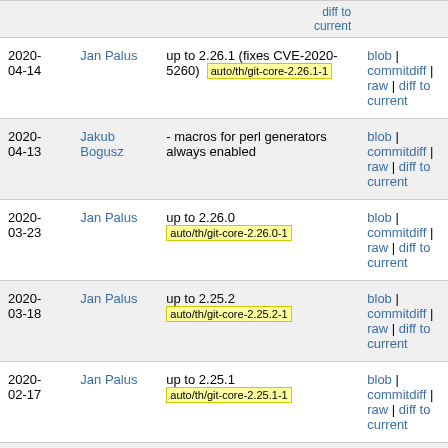| Date | Author | Message | Links |
| --- | --- | --- | --- |
| 2020-04-14 | Jan Palus | up to 2.26.1 (fixes CVE-2020-5260) auto/th/git-core-2.26.1-1 | blob | commitdiff | raw | diff to current |
| 2020-04-13 | Jakub Bogusz | - macros for perl generators always enabled | blob | commitdiff | raw | diff to current |
| 2020-03-23 | Jan Palus | up to 2.26.0 auto/th/git-core-2.26.0-1 | blob | commitdiff | raw | diff to current |
| 2020-03-18 | Jan Palus | up to 2.25.2 auto/th/git-core-2.25.2-1 | blob | commitdiff | raw | diff to current |
| 2020-02-17 | Jan Palus | up to 2.25.1 auto/th/git-core-2.25.1-1 | blob | commitdiff | raw | diff to current |
| 2020- | Jan | - drop obsolete and outdated | blob | |